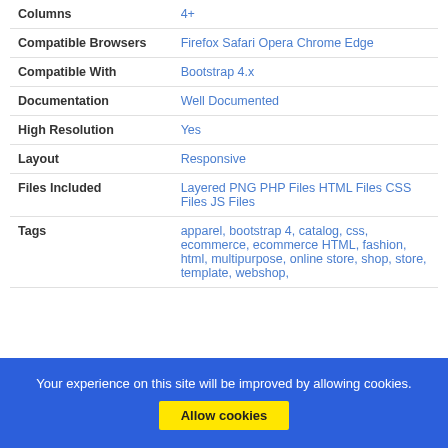| Property | Value |
| --- | --- |
| Columns | 4+ |
| Compatible Browsers | Firefox Safari Opera Chrome Edge |
| Compatible With | Bootstrap 4.x |
| Documentation | Well Documented |
| High Resolution | Yes |
| Layout | Responsive |
| Files Included | Layered PNG PHP Files HTML Files CSS Files JS Files |
| Tags | apparel, bootstrap 4, catalog, css, ecommerce, ecommerce HTML, fashion, html, multipurpose, online store, shop, store, template, webshop, |
Your experience on this site will be improved by allowing cookies.
Allow cookies